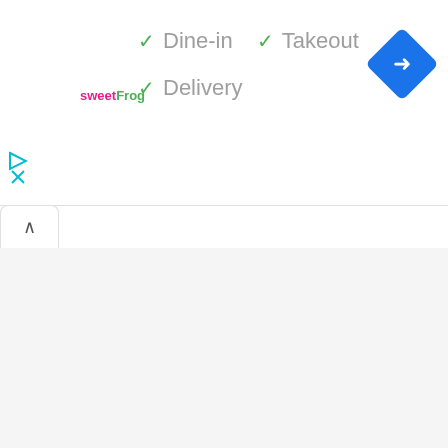[Figure (logo): sweetFrog logo in pink and green text]
✓ Dine-in
✓ Takeout
✓ Delivery
[Figure (infographic): Blue diamond-shaped navigation/directions button with white arrow pointing right]
[Figure (infographic): Cyan play button icon and X close icon on left side]
[Figure (infographic): Tab panel with up-caret collapse button]